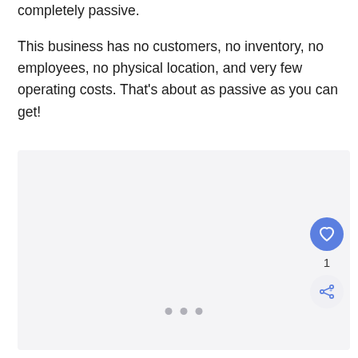completely passive.
This business has no customers, no inventory, no employees, no physical location, and very few operating costs. That's about as passive as you can get!
[Figure (other): Light gray placeholder image area with three navigation dots at the bottom, a blue heart/like button, a count of 1, and a share button on the right side.]